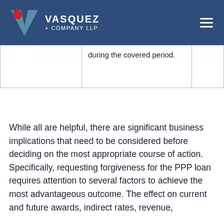VASQUEZ + COMPANY LLP
|  | during the covered period. |  |
While all are helpful, there are significant business implications that need to be considered before deciding on the most appropriate course of action. Specifically, requesting forgiveness for the PPP loan requires attention to several factors to achieve the most advantageous outcome. The effect on current and future awards, indirect rates, revenue,